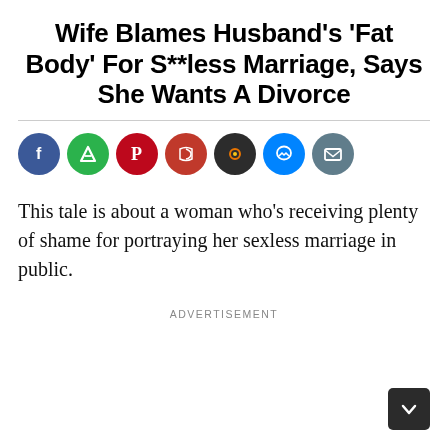Wife Blames Husband's 'Fat Body' For S**less Marriage, Says She Wants A Divorce
[Figure (infographic): Row of social media sharing icon buttons: Facebook (blue), Feedly (green), Pinterest (red), some news aggregator (dark red/red), a circle icon (dark with orange/yellow detail), Messenger (blue), Email (grey)]
This tale is about a woman who's receiving plenty of shame for portraying her sexless marriage in public.
ADVERTISEMENT